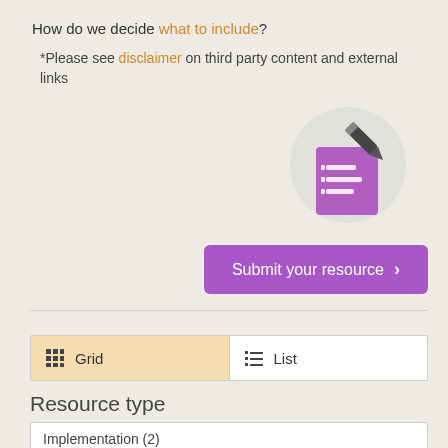How do we decide what to include?
*Please see disclaimer on third party content and external links
[Figure (illustration): Purple document with checklist icon and pencil, on a light circular background]
Submit your resource
Grid
List
Resource type
Implementation (2)
Region